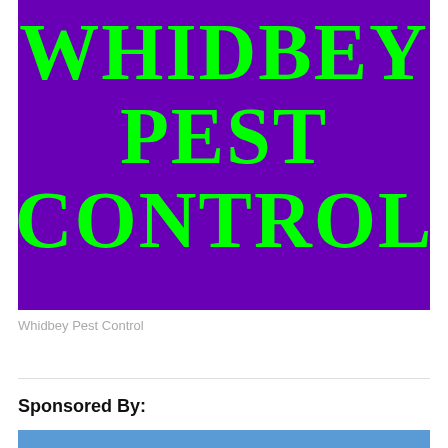[Figure (logo): Purple background with large bright green bold text reading 'WHIDBEY PEST CONTROL' in three lines]
Whidbey Pest Control
Sponsored By: